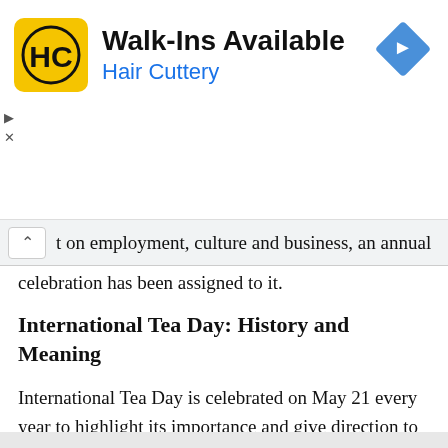[Figure (screenshot): Hair Cuttery advertisement banner. Yellow square logo with 'HC' letters on left. Text reads 'Walk-Ins Available' in bold and 'Hair Cuttery' in blue. Blue diamond navigation arrow icon on the right.]
t on employment, culture and business, an annual celebration has been assigned to it.
International Tea Day: History and Meaning
International Tea Day is celebrated on May 21 every year to highlight its importance and give direction to the countries that are making great efforts to produce tea. The United Nations wanted to support the tea producing countries by celebrating International Tea Day. With the world facing major challenges such as climate change and soil degradation, the day is also a great initiative to work towards the sustainable cultivation of a massively